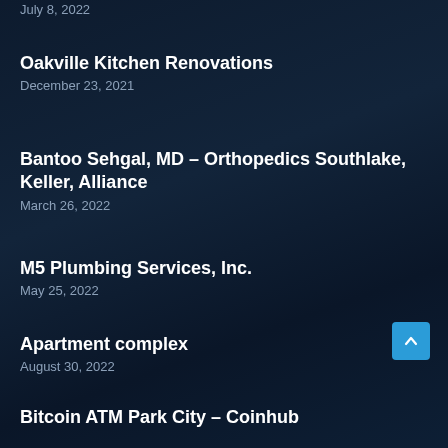July 8, 2022
Oakville Kitchen Renovations
December 23, 2021
Bantoo Sehgal, MD – Orthopedics Southlake, Keller, Alliance
March 26, 2022
M5 Plumbing Services, Inc.
May 25, 2022
Apartment complex
August 30, 2022
Bitcoin ATM Park City – Coinhub